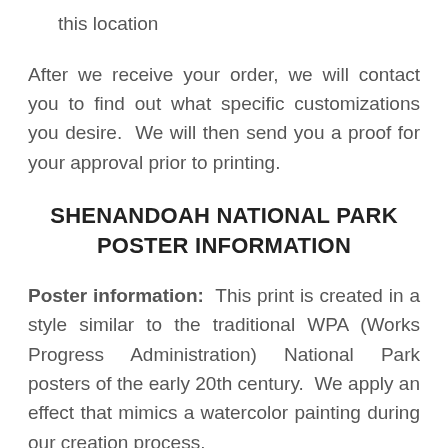this location
After we receive your order, we will contact you to find out what specific customizations you desire.  We will then send you a proof for your approval prior to printing.
SHENANDOAH NATIONAL PARK POSTER INFORMATION
Poster information:  This print is created in a style similar to the traditional WPA (Works Progress Administration) National Park posters of the early 20th century.  We apply an effect that mimics a watercolor painting during our creation process.